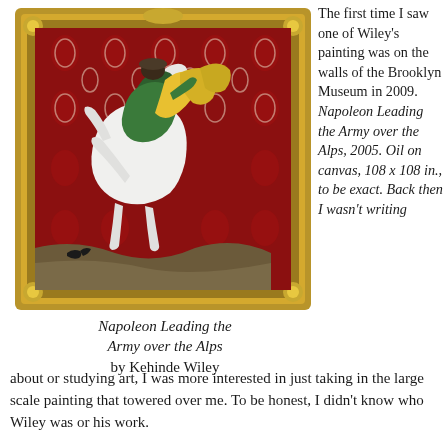[Figure (illustration): Painting: Napoleon Leading the Army over the Alps by Kehinde Wiley. A figure on a rearing white horse, wearing green and yellow robes, in front of a red patterned tapestry background, in an ornate gold frame.]
Napoleon Leading the Army over the Alps by Kehinde Wiley
The first time I saw one of Wiley’s painting was on the walls of the Brooklyn Museum in 2009.
Napoleon Leading the Army over the Alps, 2005. Oil on canvas, 108 x 108 in., to be exact. Back then I wasn’t writing about or studying art, I was more interested in just taking in the large scale painting that towered over me. To be honest, I didn’t know who Wiley was or his work.